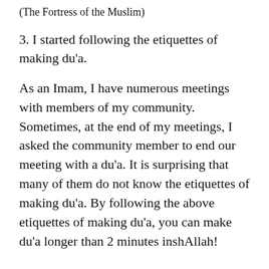(The Fortress of the Muslim)
3. I started following the etiquettes of making du'a.
As an Imam, I have numerous meetings with members of my community. Sometimes, at the end of my meetings, I asked the community member to end our meeting with a du'a. It is surprising that many of them do not know the etiquettes of making du'a. By following the above etiquettes of making du'a, you can make du'a longer than 2 minutes inshAllah!
Here are 16 etiquettes of making du'a from the Qur'an and Sunnah